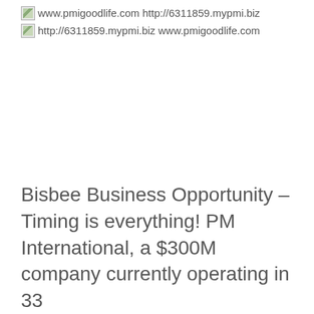www.pmigoodlife.com http://6311859.mypmi.biz
http://6311859.mypmi.biz www.pmigoodlife.com
Bisbee Business Opportunity – Timing is everything! PM International, a $300M company currently operating in 33